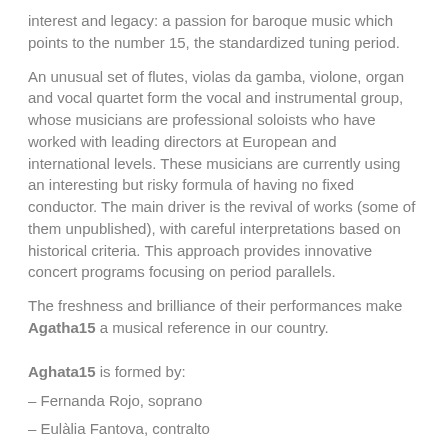interest and legacy: a passion for baroque music which points to the number 15, the standardized tuning period.
An unusual set of flutes, violas da gamba, violone, organ and vocal quartet form the vocal and instrumental group, whose musicians are professional soloists who have worked with leading directors at European and international levels. These musicians are currently using an interesting but risky formula of having no fixed conductor. The main driver is the revival of works (some of them unpublished), with careful interpretations based on historical criteria. This approach provides innovative concert programs focusing on period parallels.
The freshness and brilliance of their performances make Agatha15 a musical reference in our country.
Aghata15 is formed by:
– Fernanda Rojo, soprano
– Eulàlia Fantova, contralto